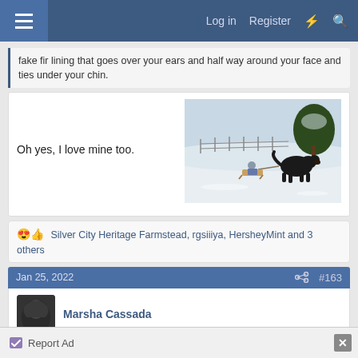Log in  Register
fake fir lining that goes over your ears and half way around your face and ties under your chin.
[Figure (photo): A large black dog pulling a child on a sled in a snowy field with a fence and tree in the background.]
Oh yes, I love mine too.
Silver City Heritage Farmstead, rgsiiiya, HersheyMint and 3 others
Jan 25, 2022   #163
Marsha Cassada
Report Ad